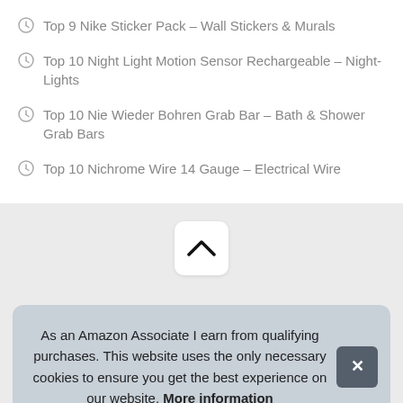Top 9 Nike Sticker Pack – Wall Stickers & Murals
Top 10 Night Light Motion Sensor Rechargeable – Night-Lights
Top 10 Nie Wieder Bohren Grab Bar – Bath & Shower Grab Bars
Top 10 Nichrome Wire 14 Gauge – Electrical Wire
[Figure (screenshot): Chevron/up arrow button in a white rounded rectangle on a light grey background]
As an Amazon Associate I earn from qualifying purchases. This website uses the only necessary cookies to ensure you get the best experience on our website. More information